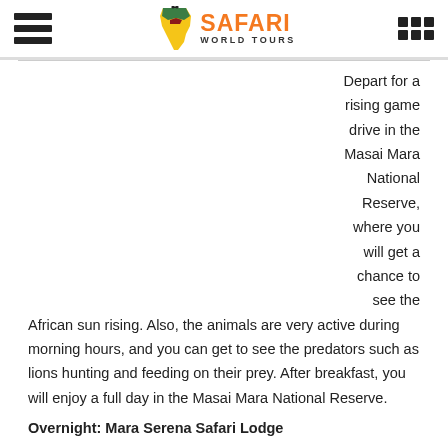Safari World Tours
Depart for a rising game drive in the Masai Mara National Reserve, where you will get a chance to see the African sun rising. Also, the animals are very active during morning hours, and you can get to see the predators such as lions hunting and feeding on their prey. After breakfast, you will enjoy a full day in the Masai Mara National Reserve.
Overnight: Mara Serena Safari Lodge